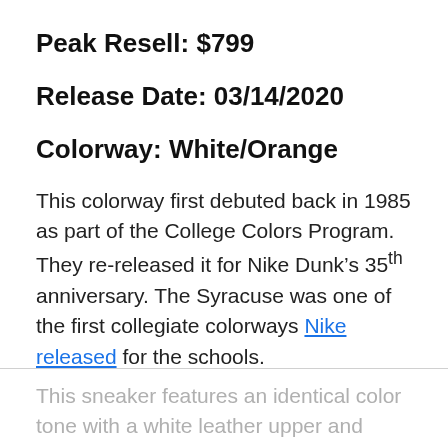Peak Resell: $799
Release Date: 03/14/2020
Colorway: White/Orange
This colorway first debuted back in 1985 as part of the College Colors Program. They re-released it for Nike Dunk’s 35th anniversary. The Syracuse was one of the first collegiate colorways Nike released for the schools.
This sneaker features an identical color tone with a white leather upper and